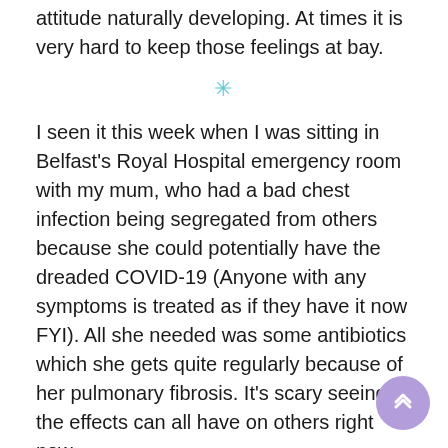attitude naturally developing. At times it is very hard to keep those feelings at bay.
✳
I seen it this week when I was sitting in Belfast's Royal Hospital emergency room with my mum, who had a bad chest infection being segregated from others because she could potentially have the dreaded COVID-19 (Anyone with any symptoms is treated as if they have it now FYI). All she needed was some antibiotics which she gets quite regularly because of her pulmonary fibrosis. It's scary seeing the effects can all have on others right now.
✳
When someone close coughs, splutters, sneezes they immediately get the Death Stir (not Death Star